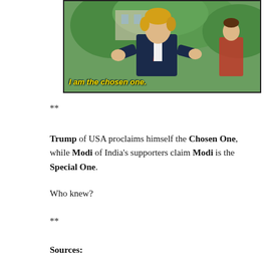[Figure (photo): A photograph of a man in a dark suit gesturing with his hands outdoors, with green foliage in the background. A yellow caption text reads 'I am the chosen one.' overlaid at the bottom of the image.]
**
Trump of USA proclaims himself the Chosen One, while Modi of India's supporters claim Modi is the Special One.
Who knew?
**
Sources: